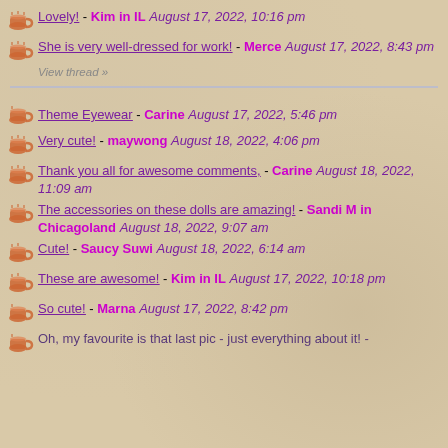Lovely! - Kim in IL August 17, 2022, 10:16 pm
She is very well-dressed for work! - Merce August 17, 2022, 8:43 pm
View thread »
Theme Eyewear - Carine August 17, 2022, 5:46 pm
Very cute! - maywong August 18, 2022, 4:06 pm
Thank you all for awesome comments, - Carine August 18, 2022, 11:09 am
The accessories on these dolls are amazing! - Sandi M in Chicagoland August 18, 2022, 9:07 am
Cute! - Saucy Suwi August 18, 2022, 6:14 am
These are awesome! - Kim in IL August 17, 2022, 10:18 pm
So cute! - Marna August 17, 2022, 8:42 pm
Oh, my favourite is that last pic - just everything about it! -